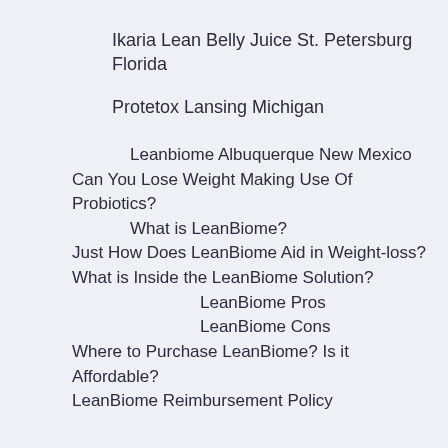Ikaria Lean Belly Juice St. Petersburg Florida
Protetox Lansing Michigan
Leanbiome Albuquerque New Mexico
Can You Lose Weight Making Use Of Probiotics?
What is LeanBiome?
Just How Does LeanBiome Aid in Weight-loss?
What is Inside the LeanBiome Solution?
LeanBiome Pros
LeanBiome Cons
Where to Purchase LeanBiome? Is it Affordable?
LeanBiome Reimbursement Policy